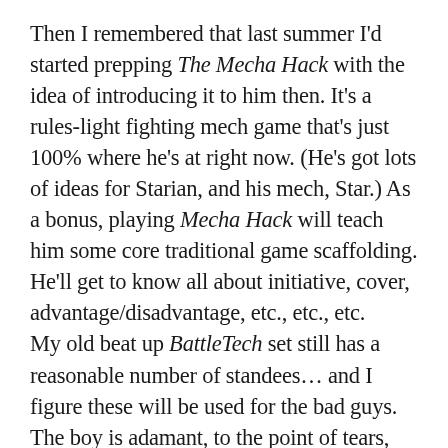Then I remembered that last summer I'd started prepping The Mecha Hack with the idea of introducing it to him then. It's a rules-light fighting mech game that's just 100% where he's at right now. (He's got lots of ideas for Starian, and his mech, Star.) As a bonus, playing Mecha Hack will teach him some core traditional game scaffolding. He'll get to know all about initiative, cover, advantage/disadvantage, etc., etc., etc.
My old beat up BattleTech set still has a reasonable number of standees… and I figure these will be used for the bad guys. The boy is adamant, to the point of tears, that he wants to customize his own. Mecha Hack comes with a set of printable standees… maybe he'll pick something to color in? Or it will be a long